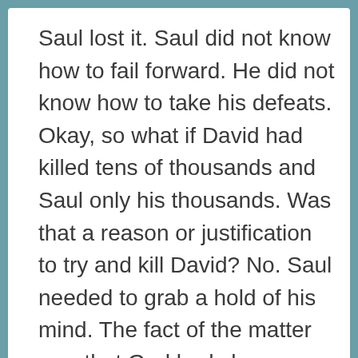Saul lost it. Saul did not know how to fail forward. He did not know how to take his defeats. Okay, so what if David had killed tens of thousands and Saul only his thousands. Was that a reason or justification to try and kill David? No. Saul needed to grab a hold of his mind. The fact of the matter was that God had chosen Saul, which was a bigger testimony than the tens of thousands or